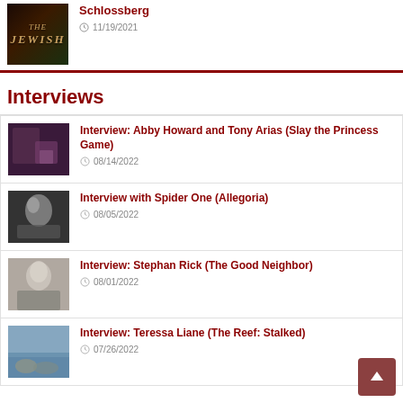[Figure (photo): Thumbnail image with The Jewish text overlay]
Schlossberg
11/19/2021
Interviews
[Figure (photo): Thumbnail for Interview: Abby Howard and Tony Arias (Slay the Princess Game)]
Interview: Abby Howard and Tony Arias (Slay the Princess Game)
08/14/2022
[Figure (photo): Thumbnail for Interview with Spider One (Allegoria)]
Interview with Spider One (Allegoria)
08/05/2022
[Figure (photo): Thumbnail for Interview: Stephan Rick (The Good Neighbor)]
Interview: Stephan Rick (The Good Neighbor)
08/01/2022
[Figure (photo): Thumbnail for Interview: Teressa Liane (The Reef: Stalked)]
Interview: Teressa Liane (The Reef: Stalked)
07/26/2022